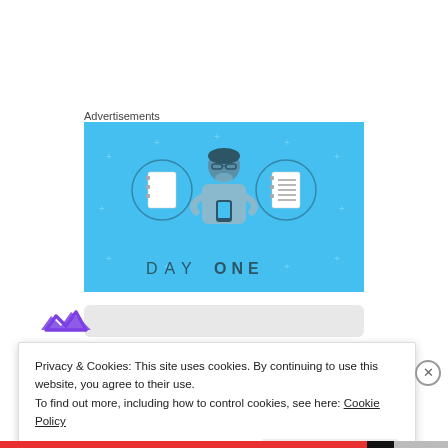Advertisements
[Figure (illustration): Day One app advertisement banner with blue background. Shows a cartoon person holding a phone, flanked by two circular icons — a blank notebook and a lined notebook. Text at the bottom reads 'DAY ONE' in bold spaced letters.]
[Figure (logo): Purple crown/arrow logo, partially visible at bottom left]
Privacy & Cookies: This site uses cookies. By continuing to use this website, you agree to their use.
To find out more, including how to control cookies, see here: Cookie Policy
Close and accept